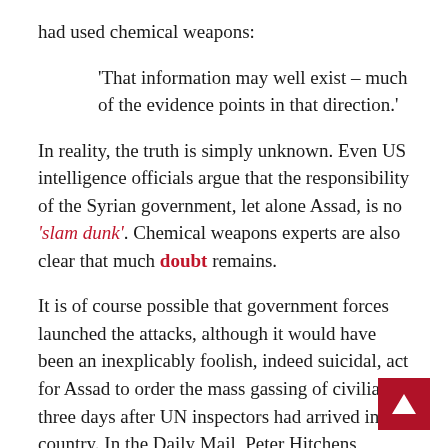had used chemical weapons:
'That information may well exist – much of the evidence points in that direction.'
In reality, the truth is simply unknown. Even US intelligence officials argue that the responsibility of the Syrian government, let alone Assad, is no 'slam dunk'. Chemical weapons experts are also clear that much doubt remains.
It is of course possible that government forces launched the attacks, although it would have been an inexplicably foolish, indeed suicidal, act for Assad to order the mass gassing of civilians three days after UN inspectors had arrived in the country. In the Daily Mail, Peter Hitchens offered a rare rational com on this theme: